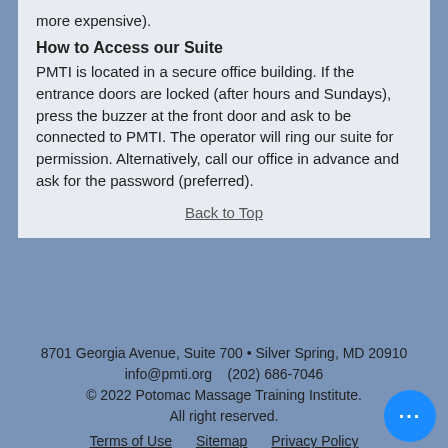more expensive).
How to Access our Suite
PMTI is located in a secure office building. If the entrance doors are locked (after hours and Sundays), press the buzzer at the front door and ask to be connected to PMTI. The operator will ring our suite for permission. Alternatively, call our office in advance and ask for the password (preferred).
Back to Top
8701 Georgia Avenue, Suite 700 • Silver Spring, MD 20910
info@pmti.org   (202) 686-7046
© 2022 Potomac Massage Training Institute. All right reserved.
Terms of Use   Sitemap   Privacy Policy
Review us on Yelp!
Review us on Angie's List